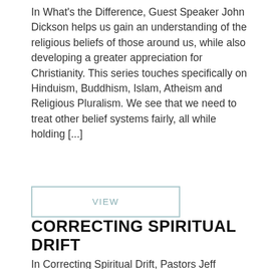In What's the Difference, Guest Speaker John Dickson helps us gain an understanding of the religious beliefs of those around us, while also developing a greater appreciation for Christianity. This series touches specifically on Hinduism, Buddhism, Islam, Atheism and Religious Pluralism. We see that we need to treat other belief systems fairly, all while holding [...]
VIEW
CORRECTING SPIRITUAL DRIFT
In Correcting Spiritual Drift, Pastors Jeff Manion and Aaron Buer explore stories from the lives of the Old Testament prophets Elijah and Elisha. This series helps us see the pull toward spiritual drift and motivates us to fight against it. Through the stories